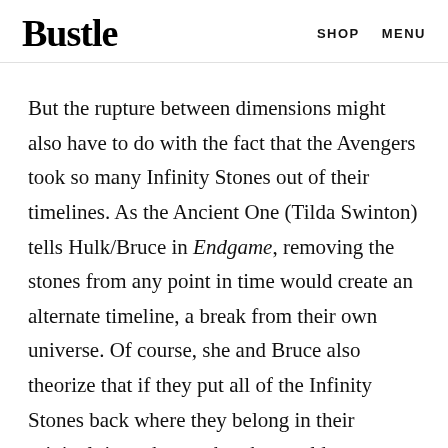Bustle | SHOP  MENU
But the rupture between dimensions might also have to do with the fact that the Avengers took so many Infinity Stones out of their timelines. As the Ancient One (Tilda Swinton) tells Hulk/Bruce in Endgame, removing the stones from any point in time would create an alternate timeline, a break from their own universe. Of course, she and Bruce also theorize that if they put all of the Infinity Stones back where they belong in their original time, then no breaks would occur.